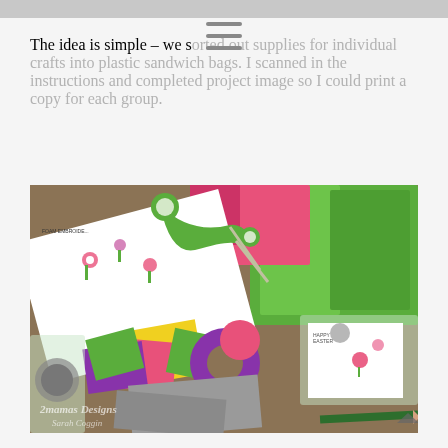The idea is simple – we sorted out supplies for individual crafts into plastic sandwich bags. I scanned in the instructions and completed project image so I could print a copy for each group.
[Figure (photo): Photo of craft supplies laid out on a carpet: green scissors, colorful foam shapes (pink, purple, yellow, green), felt pieces, plastic sandwich bags with small craft items inside, a printed instruction sheet with Easter/spring themed flowers and animals, green tissue paper bags, and a watermark reading '2mamas Designs Sarah Coggin'.]